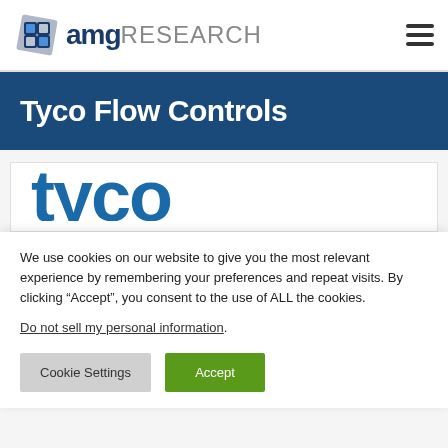amgRESEARCH
Tyco Flow Controls
[Figure (logo): Partial Tyco logo visible, large blue stylized text cropped at bottom]
We use cookies on our website to give you the most relevant experience by remembering your preferences and repeat visits. By clicking “Accept”, you consent to the use of ALL the cookies.
Do not sell my personal information.